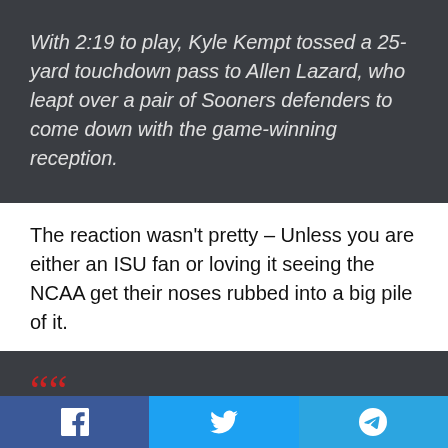With 2:19 to play, Kyle Kempt tossed a 25-yard touchdown pass to Allen Lazard, who leapt over a pair of Sooners defenders to come down with the game-winning reception.
The reaction wasn't pretty – Unless you are either an ISU fan or loving it seeing the NCAA get their noses rubbed into a big pile of it.
Iowa State plants the flag at Oklahoma.